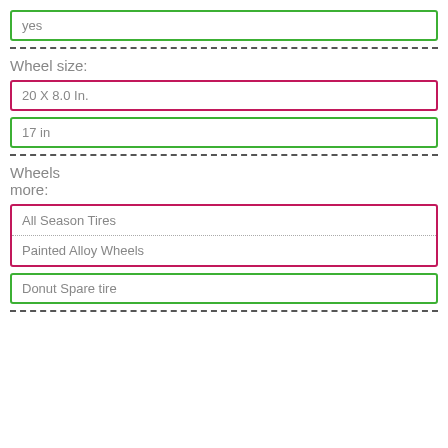yes
Wheel size:
20 X 8.0 In.
17 in
Wheels more:
All Season Tires
Painted Alloy Wheels
Donut Spare tire